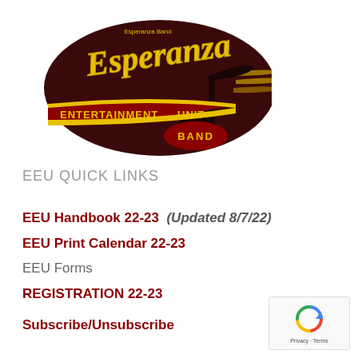[Figure (logo): Esperanza Entertainment Unit Band logo — dark red oval background with 'Esperanza' in yellow script, 'ENTERTAINMENT UNIT' and 'BAND' in yellow text on maroon banners, with a musical note graphic]
EEU QUICK LINKS
EEU Handbook 22-23  (Updated 8/7/22)
EEU Print Calendar 22-23
EEU Forms
REGISTRATION 22-23
Subscribe/Unsubscribe